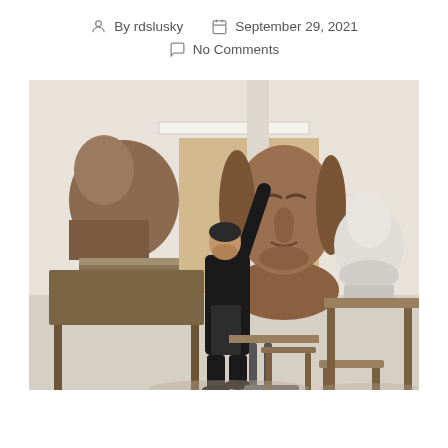By rdslusky    September 29, 2021
No Comments
[Figure (photo): A sculptor working in his studio, reaching up to touch a very large clay bust of a face with long hair and closed eyes. The studio contains multiple other clay and plaster busts on wooden tables. The sculptor is dressed in black.]